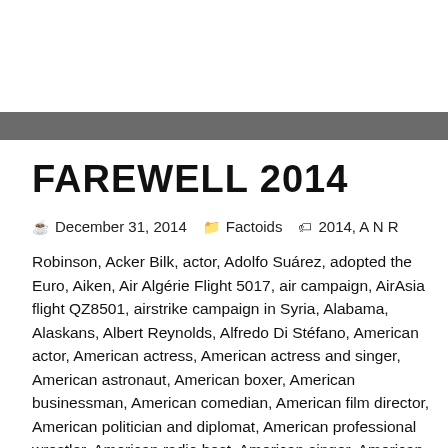FAREWELL 2014
December 31, 2014   Factoids   2014, A N R Robinson, Acker Bilk, actor, Adolfo Suárez, adopted the Euro, Aiken, Air Algérie Flight 5017, air campaign, AirAsia flight QZ8501, airstrike campaign in Syria, Alabama, Alaskans, Albert Reynolds, Alfredo Di Stéfano, American actor, American actress, American actress and singer, American astronaut, American boxer, American businessman, American comedian, American film director, American politician and diplomat, American professional wrestler, American radio host, American singer, American television producer and writer, American tennis player, Anatoly Berezovoy, Andrea de Cesaris, Andriy Bal, annexation of Crimea, Arab partners, Argentine-Spanish footballer, Ariel Sharon, Atlanta, Augusta, Augusta National Golf Club, Australia, Australians, award-winning, Austrian